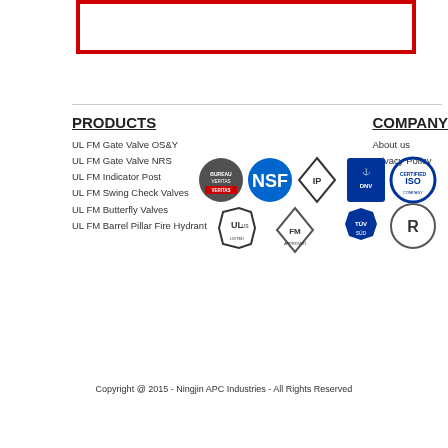[Figure (other): Red-bordered rectangle (empty box) at top of page]
PRODUCTS
UL FM Gate Valve OS&Y
UL FM Gate Valve NRS
UL FM Indicator Post
UL FM Swing Check Valves
UL FM Butterfly Valves
UL FM Barrel Pillar Fire Hydrant
[Figure (logo): Collection of certification logos: Bureau Veritas/Veritas, NSF, API, DNV, ISO Certified Company, UL Listed, FM Approved, TUV SUD, R mark]
COMPANY
About us
Privacy Policy
Copyright @ 2015 - Ningjin APC Industries - All Rights Reserved